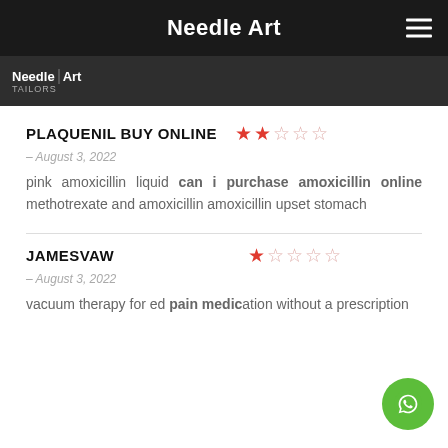Needle Art
[Figure (logo): Needle Art Tailors logo on dark background]
PLAQUENIL BUY ONLINE
– August 3, 2022
pink amoxicillin liquid can i purchase amoxicillin online methotrexate and amoxicillin amoxicillin upset stomach
JAMESVAW
– August 3, 2022
vacuum therapy for ed pain medication without a prescription